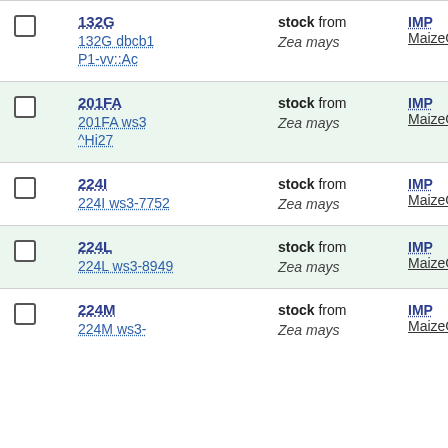|  | Name | Type/Organism | ID |
| --- | --- | --- | --- |
| ☐ | 132G
132G dbcb1
P1-vv::Ac | stock from
Zea mays | IMP
MaizeGDB:892 |
| ☐ | 201FA
201FA ws3 ^Hi27 | stock from
Zea mays | IMP
MaizeGDB:892 |
| ☐ | 224I
224I ws3-7752 | stock from
Zea mays | IMP
MaizeGDB:892 |
| ☐ | 224L
224L ws3-8949 | stock from
Zea mays | IMP
MaizeGDB:892 |
| ☐ | 224M
224M ws3- | stock from
Zea mays | IMP
MaizeGDB:892 |